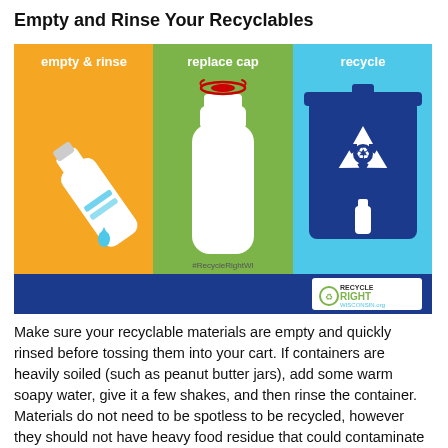Empty and Rinse Your Recyclables
[Figure (infographic): Three-panel recycling infographic with orange, green, and cyan sections. Panel 1 (orange): 'empty & rinse' with illustration of bottle pouring water. Panel 2 (green): 'replace cap' with white bottle and spinning cap. Panel 3 (cyan): 'recycle' with dark blue recycling bin containing recycling symbol and bottle. Bottom bar is dark blue with Recycle Right Wisconsin.org logo. Hashtag #RecycleRightWI shown.]
Make sure your recyclable materials are empty and quickly rinsed before tossing them into your cart. If containers are heavily soiled (such as peanut butter jars), add some warm soapy water, give it a few shakes, and then rinse the container. Materials do not need to be spotless to be recycled, however they should not have heavy food residue that could contaminate otherwise clean materials.